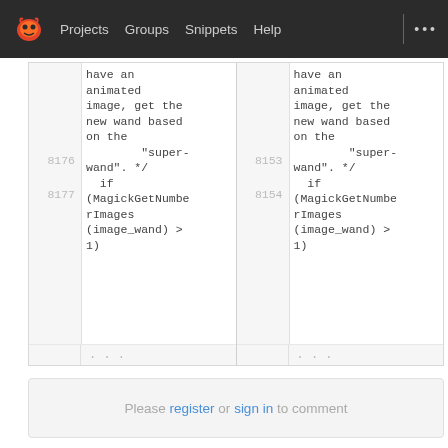Projects  Groups  Snippets  Help  ...
[Figure (screenshot): GitLab code diff view showing two panes of source code. Left pane shows line numbers 8176-8177 with code: "super-wand". */ and if (MagickGetNumberImages(image_wand) > 1). Right pane shows line numbers 8153-8154 with the same code. Both panes end with ellipsis rows.]
Please register or sign in to comment